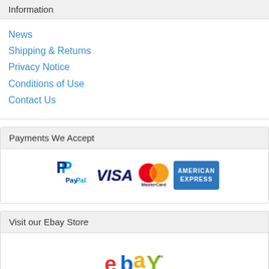Information
News
Shipping & Returns
Privacy Notice
Conditions of Use
Contact Us
Payments We Accept
[Figure (logo): Payment logos: PayPal, Visa, MasterCard, American Express]
Visit our Ebay Store
[Figure (logo): eBay shop logo]